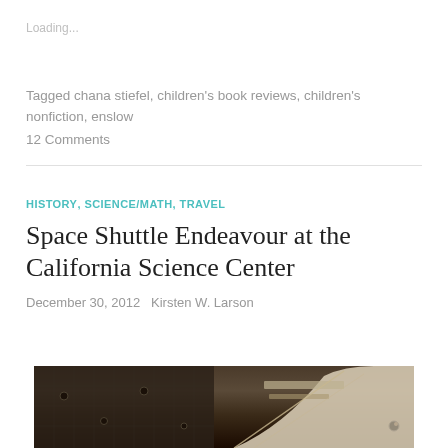Loading...
Tagged chana stiefel, children's book reviews, children's nonfiction, enslow
12 Comments
HISTORY, SCIENCE/MATH, TRAVEL
Space Shuttle Endeavour at the California Science Center
December 30, 2012   Kirsten W. Larson
[Figure (photo): Dark sepia-toned photograph showing close-up detail of the Space Shuttle Endeavour, with visible heat shield tiles and curved white nose section with markings.]